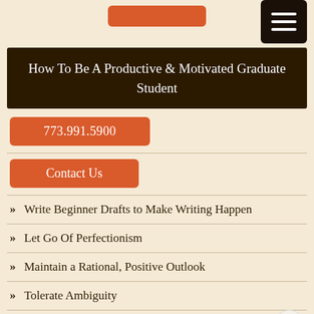How To Be A Productive & Motivated Graduate Student
773.991.5900
Contact Us
Write Beginner Drafts to Make Writing Happen
Let Go Of Perfectionism
Maintain a Rational, Positive Outlook
Tolerate Ambiguity
Stop Competing